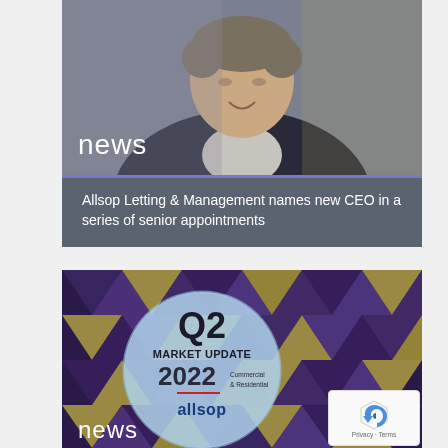[Figure (photo): Portrait photo of a man in a dark suit jacket smiling, with a blurred office background. The word 'news' appears in white text at the bottom left of the photo.]
Allsop Letting & Management names new CEO in a series of senior appointments
[Figure (illustration): Q2 Market Update 2022 Commercial & Residential allsop branded circular badge on a geometric purple/gold triangle-pattern background. The word 'news' appears partially at the bottom.]